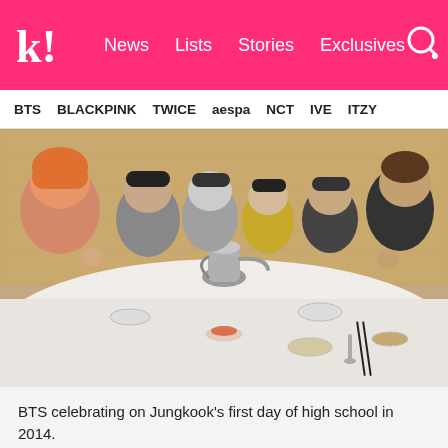k! News Lists Stories Exclusives
BTS BLACKPINK TWICE aespa NCT IVE ITZY
[Figure (photo): BTS members seated and posing at a restaurant table with a white tablecloth, tea pot, bowls of food, and chopsticks. Members making peace signs and posing for the camera.]
BTS celebrating on Jungkook’s first day of high school in 2014.